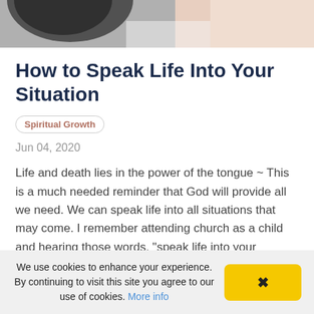[Figure (photo): Partial photo of people, cropped at the top of the page]
How to Speak Life Into Your Situation
Spiritual Growth
Jun 04, 2020
Life and death lies in the power of the tongue ~ This is a much needed reminder that God will provide all we need. We can speak life into all situations that may come. I remember attending church as a child and hearing those words, "speak life into your situation" or
We use cookies to enhance your experience. By continuing to visit this site you agree to our use of cookies. More info